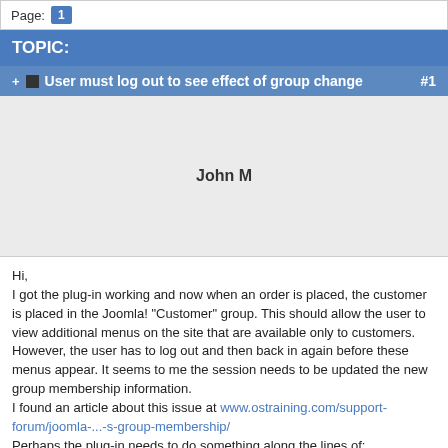Page: 1
TOPIC:
User must log out to see effect of group change  #1
[Figure (other): User avatar placeholder area showing username 'John M']
Hi,
I got the plug-in working and now when an order is placed, the customer is placed in the Joomla! "Customer" group. This should allow the user to view additional menus on the site that are available only to customers. However, the user has to log out and then back in again before these menus appear. It seems to me the session needs to be updated the new group membership information.
I found an article about this issue at www.ostraining.com/support-forum/joomla-...-s-group-membership/
Perhaps the plug-in needs to do something along the lines of:
$session = JFactory::getSession();
$session->set('user', new JUser($customUser->id)); // Force load from